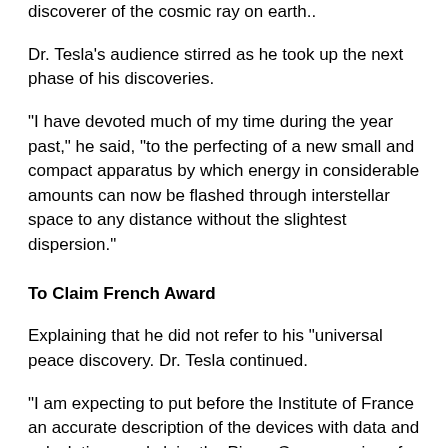discoverer of the cosmic ray on earth..
Dr. Tesla's audience stirred as he took up the next phase of his discoveries.
"I have devoted much of my time during the year past," he said, "to the perfecting of a new small and compact apparatus by which energy in considerable amounts can now be flashed through interstellar space to any distance without the slightest dispersion."
To Claim French Award
Explaining that he did not refer to his "universal peace discovery. Dr. Tesla continued.
"I am expecting to put before the Institute of France an accurate description of the devices with data and calculations and claim the Pierre Guzman prize of 100,000